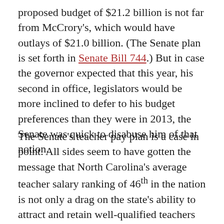proposed budget of $21.2 billion is not far from McCrory's, which would have outlays of $21.0 billion. (The Senate plan is set forth in Senate Bill 744.) But in case the governor expected that this year, his second in office, legislators would be more inclined to defer to his budget preferences than they were in 2013, the Senate was quick to disabuse him of that notion.
The Senate's teacher pay plan is a case in point. All sides seem to have gotten the message that North Carolina's average teacher salary ranking of 46th in the nation is not only a drag on the state's ability to attract and retain well-qualified teachers but also has become a political issue best not ignored. The governor, for his part, focuses on improving salaries